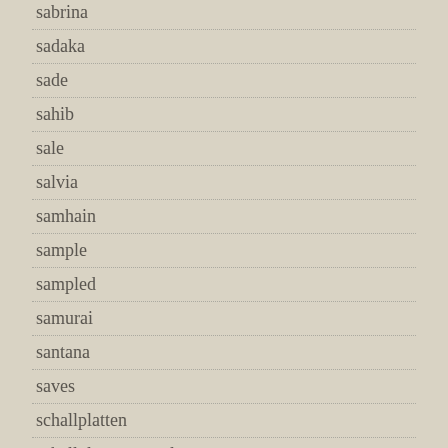sabrina
sadaka
sade
sahib
sale
salvia
samhain
sample
sampled
samurai
santana
saves
schallplatten
schallplattensammlung
schoolboy
scorpions